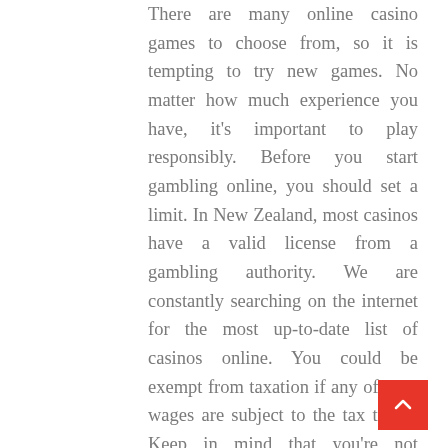There are many online casino games to choose from, so it is tempting to try new games. No matter how much experience you have, it's important to play responsibly. Before you start gambling online, you should set a limit. In New Zealand, most casinos have a valid license from a gambling authority. We are constantly searching on the internet for the most up-to-date list of casinos online. You could be exempt from taxation if any of your wages are subject to the tax treaty. Keep in mind that you're not playing for fun when you have an account at a casino. Any losses you may incur are real and taxable.